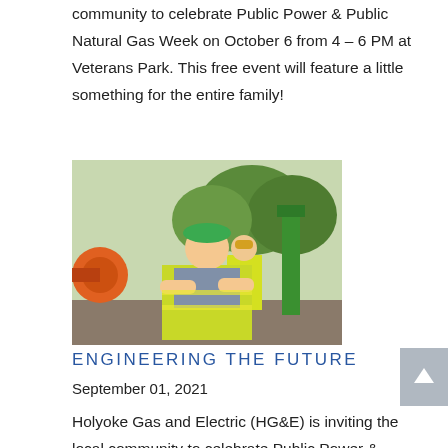community to celebrate Public Power & Public Natural Gas Week on October 6 from 4 – 6 PM at Veterans Park. This free event will feature a little something for the entire family!
[Figure (photo): A young male utility worker in a green hard hat and yellow safety vest with arms crossed, standing at a worksite with equipment and another worker in background]
ENGINEERING THE FUTURE
September 01, 2021
Holyoke Gas and Electric (HG&E) is inviting the local community to celebrate Public Power & Public Natural